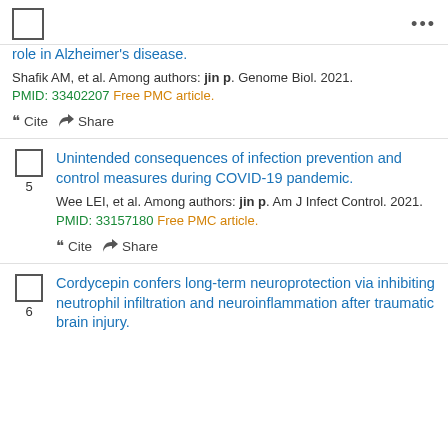☐  ...
role in Alzheimer's disease.
Shafik AM, et al. Among authors: jin p. Genome Biol. 2021. PMID: 33402207 Free PMC article.
❝ Cite  Share
Unintended consequences of infection prevention and control measures during COVID-19 pandemic.
Wee LEI, et al. Among authors: jin p. Am J Infect Control. 2021. PMID: 33157180 Free PMC article.
❝ Cite  Share
Cordycepin confers long-term neuroprotection via inhibiting neutrophil infiltration and neuroinflammation after traumatic brain injury.